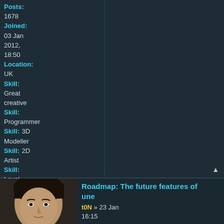Posts: 1678
Joined: 03 Jan 2012, 18:50
Location: UK
Skill: Great creative
Skill: Programmer
Skill: 3D Modeller
Skill: 2D Artist
Skill: Level Designer
[Figure (illustration): Small circular avatar icon with globe/website symbol]
Roadmap: The future features of [game name]
[username]t0N » 23 Jan [year] 16:15